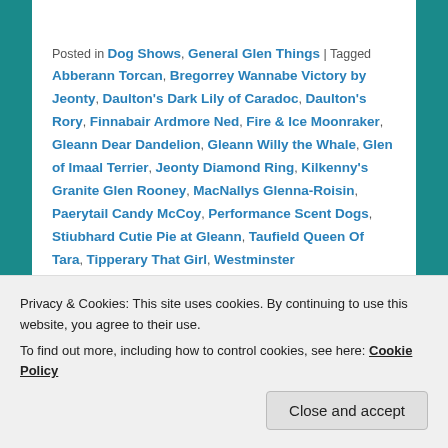Posted in Dog Shows, General Glen Things | Tagged Abberann Torcan, Bregorrey Wannabe Victory by Jeonty, Daulton's Dark Lily of Caradoc, Daulton's Rory, Finnabair Ardmore Ned, Fire & Ice Moonraker, Gleann Dear Dandelion, Gleann Willy the Whale, Glen of Imaal Terrier, Jeonty Diamond Ring, Kilkenny's Granite Glen Rooney, MacNallys Glenna-Roisin, Paerytail Candy McCoy, Performance Scent Dogs, Stiubhard Cutie Pie at Gleann, Taufield Queen Of Tara, Tipperary That Girl, Westminster
| M | T | W | T | F | S | S |
| --- | --- | --- | --- | --- | --- | --- |
| 1 | 2 | 3 | 4 | 5 | 6 | 7 |
Privacy & Cookies: This site uses cookies. By continuing to use this website, you agree to their use.
To find out more, including how to control cookies, see here: Cookie Policy